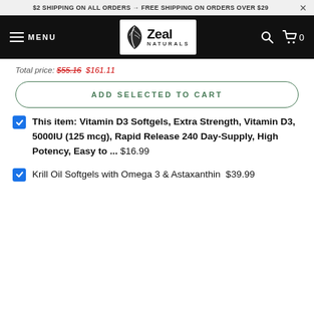$2 SHIPPING ON ALL ORDERS → FREE SHIPPING ON ORDERS OVER $29
[Figure (logo): Zeal Naturals logo with leaf graphic on black navigation bar with MENU label, search icon, and cart icon showing 0]
Total price: $55.16  $101.11
ADD SELECTED TO CART
This item: Vitamin D3 Softgels, Extra Strength, Vitamin D3, 5000IU (125 mcg), Rapid Release 240 Day-Supply, High Potency, Easy to ...  $16.99
Krill Oil Softgels with Omega 3 & Astaxanthin  $39.99